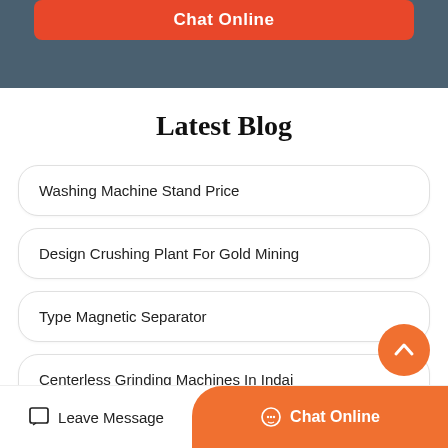[Figure (screenshot): Top banner with slate-blue background and red 'Chat Online' button]
Latest Blog
Washing Machine Stand Price
Design Crushing Plant For Gold Mining
Type Magnetic Separator
Centerless Grinding Machines In Indai
Mobile Vibrating Screen Good Somalia
Leave Message
Chat Online